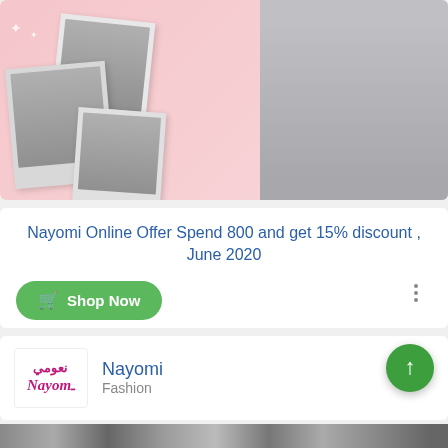[Figure (photo): Nayomi fashion promotional banner with pink background, polaroid-style photos of a woman in white clothing, and a model in a white dress on the right side]
Nayomi Online Offer Spend 800 and get 15% discount , June 2020
Shop Now
[Figure (logo): Nayomi brand logo with Arabic text and English Nayom text in pink/magenta]
Nayomi
Fashion
[Figure (photo): Bottom strip showing colorful clothing items]